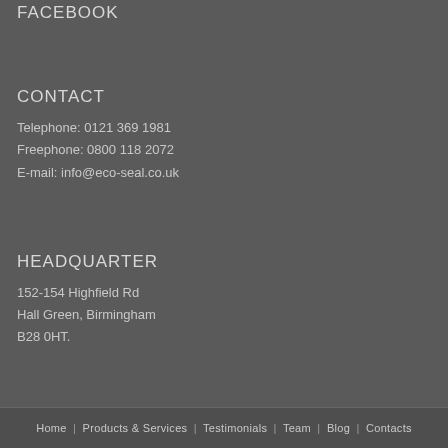FACEBOOK
CONTACT
Telephone: 0121 369 1981
Freephone: 0800 118 2072
E-mail: info@eco-seal.co.uk
HEADQUARTER
152-154 Highfield Rd
Hall Green, Birmingham
B28 0HT.
Home | Products & Services | Testimonials | Team | Blog | Contacts